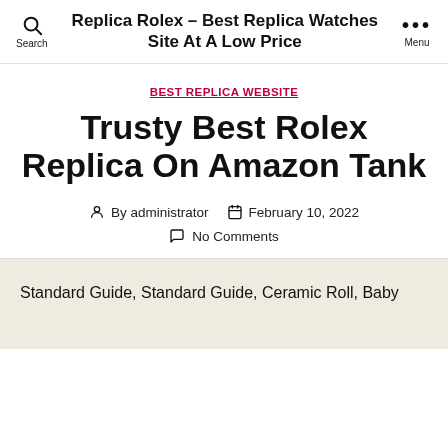Replica Rolex – Best Replica Watches Site At A Low Price
BEST REPLICA WEBSITE
Trusty Best Rolex Replica On Amazon Tank
By administrator   February 10, 2022   No Comments
Standard Guide, Standard Guide, Ceramic Roll, Baby